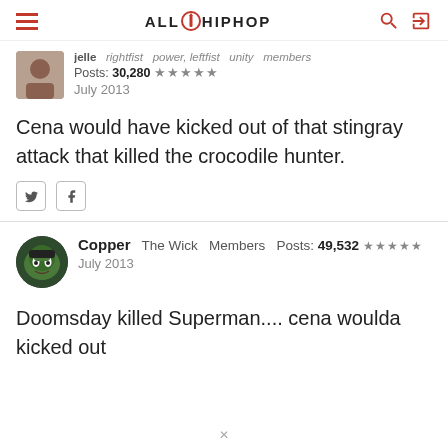ALLHIPHOP
jelle  rightfist  power, leftfist  unity  members  Posts: 30,280  July 2013
Cena would have kicked out of that stingray attack that killed the crocodile hunter.
Copper  The Wick  Members  Posts: 49,532  July 2013
Doomsday killed Superman.... cena woulda kicked out